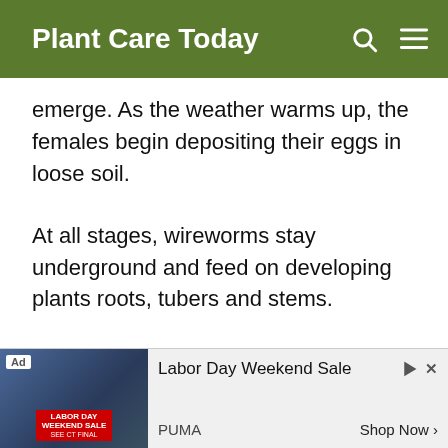Plant Care Today
emerge. As the weather warms up, the females begin depositing their eggs in loose soil.
At all stages, wireworms stay underground and feed on developing plants roots, tubers and stems.
Mature larvae become pupae during the late, hot months of summer and transform into adult beetles just before fall. They remain in the soil until
[Figure (infographic): Advertisement banner: Labor Day Weekend Sale by PUMA with Shop Now button]